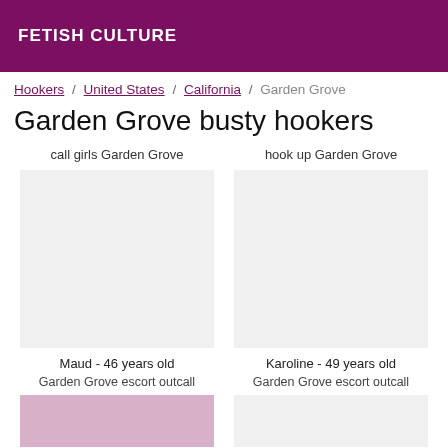FETISH CULTURE
Hookers / United States / California / Garden Grove
Garden Grove busty hookers
call girls Garden Grove
hook up Garden Grove
Maud - 46 years old
Karoline - 49 years old
Garden Grove escort outcall
Garden Grove escort outcall